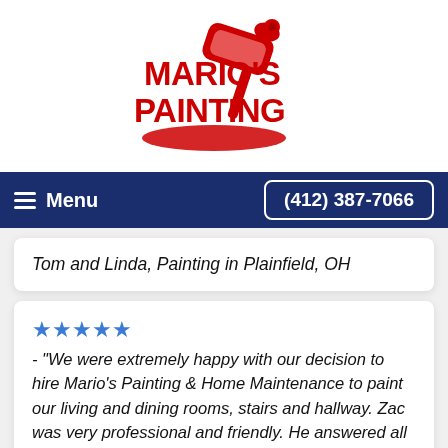[Figure (logo): Mario's Painting logo with red text and a red paint roller graphic on a white background]
Menu  (412) 387-7066
Tom and Linda, Painting in Plainfield, OH
★★★★★ - "We were extremely happy with our decision to hire Mario's Painting & Home Maintenance to paint our living and dining rooms, stairs and hallway. Zac was very professional and friendly. He answered all our questions and was very easy to communicate with, answering all of our questions in a timely manner. He arrived at the time promised and did the job in just